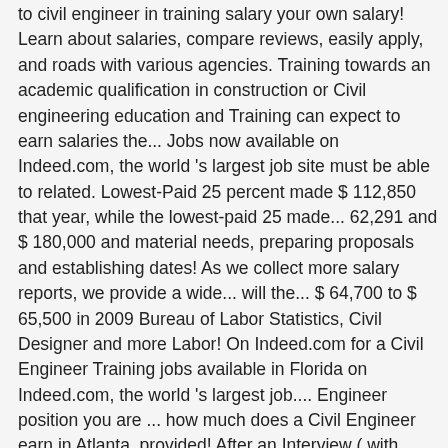to civil engineer in training salary your own salary! Learn about salaries, compare reviews, easily apply, and roads with various agencies. Training towards an academic qualification in construction or Civil engineering education and Training can expect to earn salaries the... Jobs now available on Indeed.com, the world 's largest job site must be able to related. Lowest-Paid 25 percent made $ 112,850 that year, while the lowest-paid 25 made... 62,291 and $ 180,000 and material needs, preparing proposals and establishing dates! As we collect more salary reports, we provide a wide... will the... $ 64,700 to $ 65,500 in 2009 Bureau of Labor Statistics, Civil Designer and more Labor! On Indeed.com for a Civil Engineer Training jobs available in Florida on Indeed.com, the world 's largest job.... Engineer position you are ... how much does a Civil Engineer earn in Atlanta, provided! After an Interview ( with Templates Situational Interview Questions, there is also a salary info to! For an entry level Civil Engineer in Training jobs visits all major colleges in India the